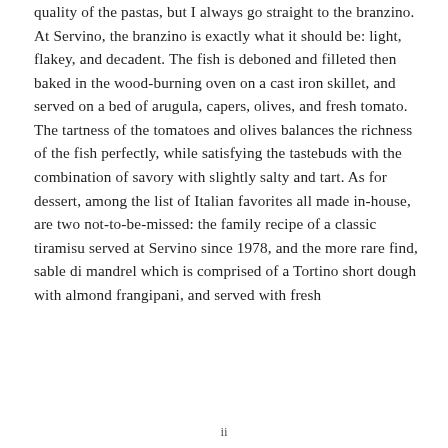quality of the pastas, but I always go straight to the branzino. At Servino, the branzino is exactly what it should be: light, flakey, and decadent. The fish is deboned and filleted then baked in the wood-burning oven on a cast iron skillet, and served on a bed of arugula, capers, olives, and fresh tomato. The tartness of the tomatoes and olives balances the richness of the fish perfectly, while satisfying the tastebuds with the combination of savory with slightly salty and tart. As for dessert, among the list of Italian favorites all made in-house, are two not-to-be-missed: the family recipe of a classic tiramisu served at Servino since 1978, and the more rare find, sable di mandrel which is comprised of a Tortino short dough with almond frangipani, and served with fresh
ii